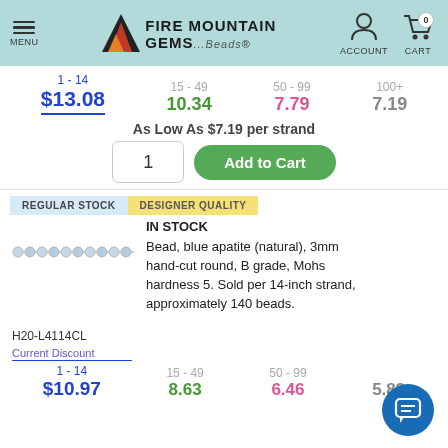MENU | FIRE MOUNTAIN GEMS and Beads | ACCOUNT | CART 0
| 1 - 14 | 15 - 49 | 50 - 99 | 100+ |
| --- | --- | --- | --- |
| $13.08 | 10.34 | 7.79 | 7.19 |
As Low As $7.19 per strand
1  Add to Cart
REGULAR STOCK   DESIGNER QUALITY
IN STOCK
Bead, blue apatite (natural), 3mm hand-cut round, B grade, Mohs hardness 5. Sold per 14-inch strand, approximately 140 beads.
H20-L4114CL
Current Discount
| 1 - 14 | 15 - 49 | 50 - 99 | 100+ |
| --- | --- | --- | --- |
| $10.97 | 8.63 | 6.46 | 5.89 |